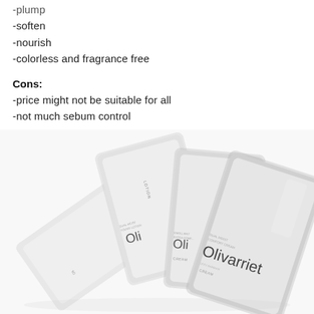-plump
-soften
-nourish
-colorless and fragrance free
Cons:
-price might not be suitable for all
-not much sebum control
[Figure (photo): Several white foil sample sachets of Olivarriet skincare products (lotion and cream) arranged in a fan/spread layout on a white background]